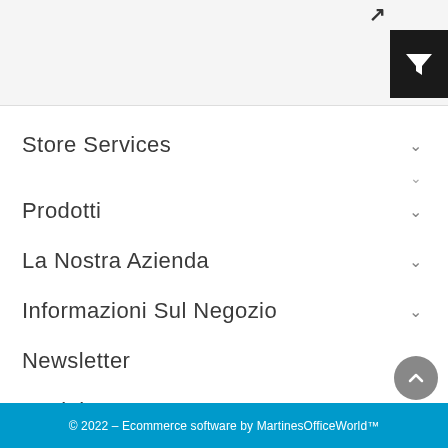[Figure (screenshot): Top bar with search input area and black filter button with funnel icon]
Store Services
Prodotti
La Nostra Azienda
Informazioni Sul Negozio
Newsletter
Social
© 2022 – Ecommerce software by MartinesOfficeWorld™